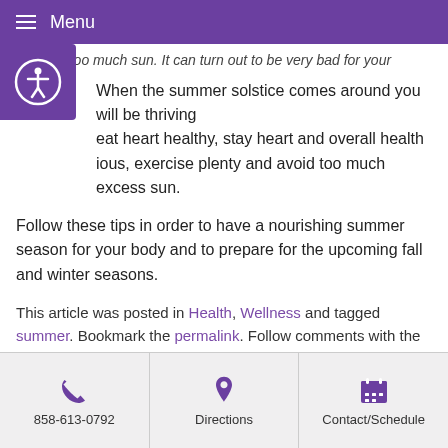Menu
body; to too much sun. It can turn out to be very bad for your
When the summer solstice comes around you will be thriving eat heart healthy, stay heart and overall health ious, exercise plenty and avoid too much excess sun.
Follow these tips in order to have a nourishing summer season for your body and to prepare for the upcoming fall and winter seasons.
This article was posted in Health, Wellness and tagged summer. Bookmark the permalink. Follow comments with the RSS feed for this post. Both comments and trackbacks are closed.
858-613-0792  Directions  Contact/Schedule